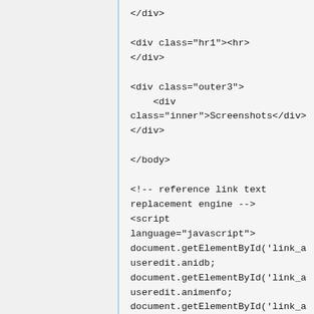</div>

<div class="hr1"><hr>
</div>

<div class="outer3">
    <div
class="inner">Screenshots</div>
</div>

</body>

<!-- reference link text
replacement engine -->
<script
language="javascript">
document.getElementById('link_a
useredit.anidb;
document.getElementById('link_a
useredit.animenfo;
document.getElementById('link_a
useredit.ann;
document.getElementById('link_c
useredit.officialpage;